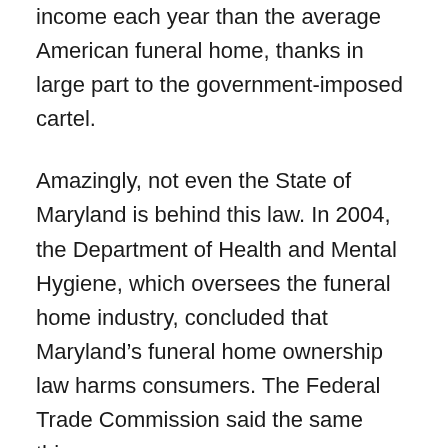income each year than the average American funeral home, thanks in large part to the government-imposed cartel.
Amazingly, not even the State of Maryland is behind this law. In 2004, the Department of Health and Mental Hygiene, which oversees the funeral home industry, concluded that Maryland's funeral home ownership law harms consumers. The Federal Trade Commission said the same thing.
The human dimension of Maryland's restriction on funeral home ownership hit home to Charles about 10 years ago. Back then, Charles leased his funeral home to a licensed funeral director who ran it. But this funeral